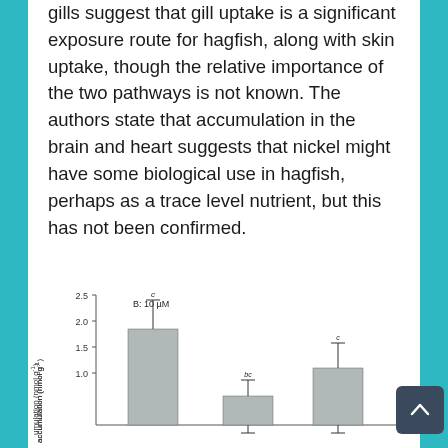gills suggest that gill uptake is a significant exposure route for hagfish, along with skin uptake, though the relative importance of the two pathways is not known. The authors state that accumulation in the brain and heart suggests that nickel might have some biological use in hagfish, perhaps as a trace level nutrient, but this has not been confirmed.
[Figure (bar-chart): B: 10 µM]